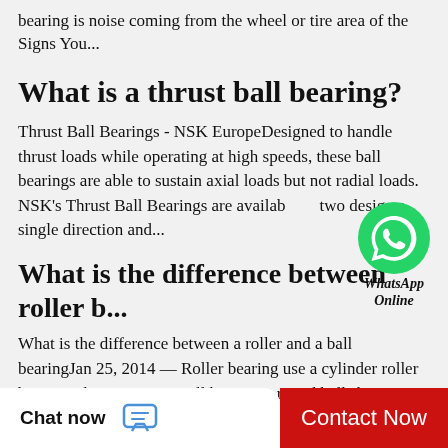bearing is noise coming from the wheel or tire area of the  Signs You...
What is a thrust ball bearing?
Thrust Ball Bearings - NSK EuropeDesigned to handle thrust loads while operating at high speeds, these ball bearings are able to sustain axial loads but not radial loads. NSK's Thrust Ball Bearings are available two designs: single direction and...
[Figure (logo): WhatsApp green circle logo with phone icon and label 'WhatsApp Online']
What is the difference between roller b...
What is the difference between a roller and a ball bearingJan 25, 2014 — Roller bearing use a cylinder roller between the two races. Ball bears use round balls between the two races. Roller bearings for the same size handle larger loads.
Chat now   Contact Now